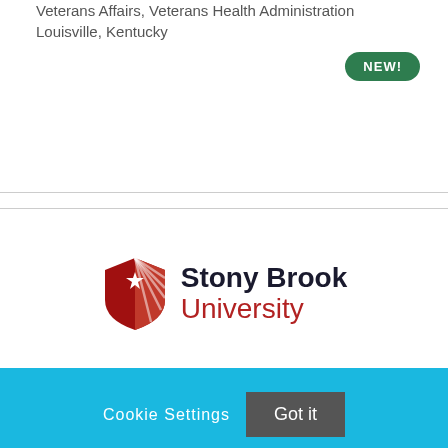Veterans Affairs, Veterans Health Administration
Louisville, Kentucky
[Figure (other): Green rounded badge with white bold text reading NEW!]
[Figure (logo): Stony Brook University logo with red shield icon and text 'Stony Brook University']
Cookie Settings   Got it
We use cookies so that we can remember you and understand how you use our site. If you do not agree with our use of cookies, please change the current settings found in our Cookie Policy. Otherwise, you agree to the use of the cookies as they are currently set.